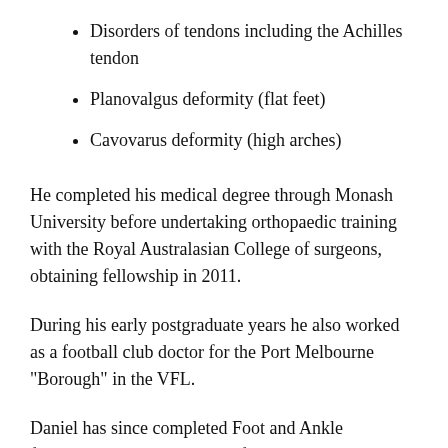Disorders of tendons including the Achilles tendon
Planovalgus deformity (flat feet)
Cavovarus deformity (high arches)
He completed his medical degree through Monash University before undertaking orthopaedic training with the Royal Australasian College of surgeons, obtaining fellowship in 2011.
During his early postgraduate years he also worked as a football club doctor for the Port Melbourne "Borough" in the VFL.
Daniel has since completed Foot and Ankle fellowships with the Prince of Wales hospital in Sydney and The Robert Jones Agnes Hunt Orthopaedic hospital in